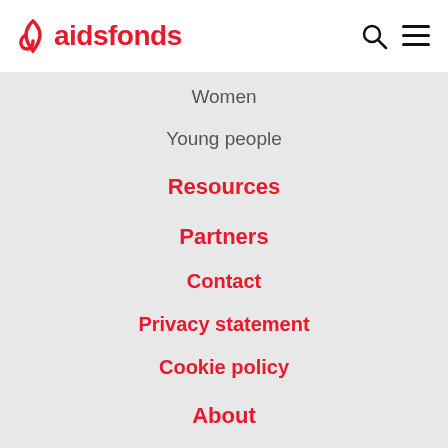aidsfonds
Women
Young people
Resources
Partners
Contact
Privacy statement
Cookie policy
About
Our approach
Our strategy
Our organisation